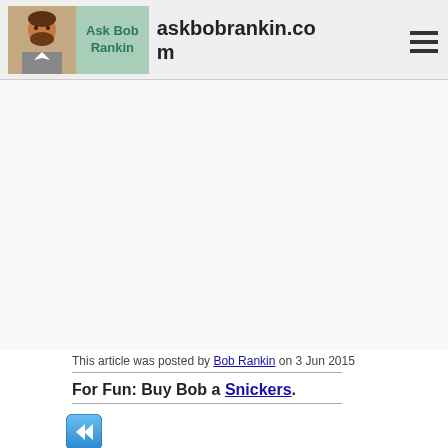askbobrankin.com
This article was posted by Bob Rankin on 3 Jun 2015
For Fun: Buy Bob a Snickers.
[Figure (illustration): Blue rewind/back arrow icon button]
Prev Article:
Windows 10 is Here, Almost...